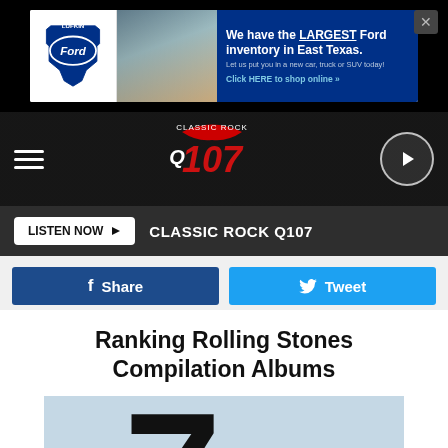[Figure (screenshot): Advertisement for Lufkin Ford: 'We have the LARGEST Ford inventory in East Texas. Let us put you in a new car, truck or SUV today! Click HERE to shop online »' with Lufkin Ford logo and dealership photo on blue background]
[Figure (logo): Classic Rock Q107 radio station navigation bar with hamburger menu, Q107 logo, and play button]
LISTEN NOW ▶   CLASSIC ROCK Q107
f Share   Tweet
Ranking Rolling Stones Compilation Albums
[Figure (photo): Album cover showing a large bold number '7' in black over a light blue background, with the Rolling Stones lips and tongue logo at the bottom]